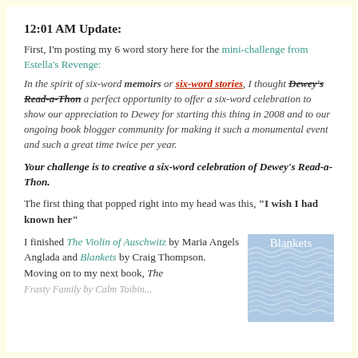12:01 AM Update:
First, I'm posting my 6 word story here for the mini-challenge from Estella's Revenge:
In the spirit of six-word memoirs or six-word stories, I thought Dewey's Read-a-Thon a perfect opportunity to offer a six-word celebration to show our appreciation to Dewey for starting this thing in 2008 and to our ongoing book blogger community for making it such a monumental event and such a great time twice per year.
Your challenge is to creative a six-word celebration of Dewey's Read-a-Thon.
The first thing that popped right into my head was this, "I wish I had known her"
I finished The Violin of Auschwitz by Maria Angels Anglada and Blankets by Craig Thompson. Moving on to my next book, The
[Figure (illustration): Book cover of 'Blankets' by Craig Thompson - blue/grey illustrated cover with handwritten title in white text]